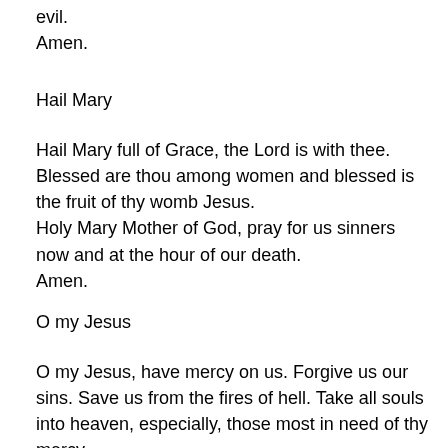evil.
Amen.
Hail Mary
Hail Mary full of Grace, the Lord is with thee. Blessed are thou among women and blessed is the fruit of thy womb Jesus.
Holy Mary Mother of God, pray for us sinners now and at the hour of our death.
Amen.
O my Jesus
O my Jesus, have mercy on us. Forgive us our sins. Save us from the fires of hell. Take all souls into heaven, especially, those most in need of thy mercy.
Amen.